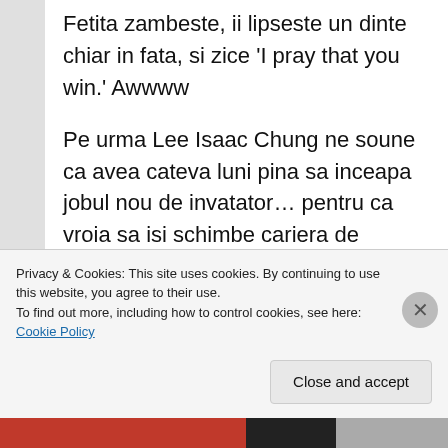Fetita zambeste, ii lipseste un dinte chiar in fata, si zice ‘I pray that you win.’ Awwww
Pe urma Lee Isaac Chung ne soune ca avea cateva luni pina sa inceapa jobul nou de invatator… pentru ca vroia sa isi schimbe cariera de cineast… asa ca s-a gandit el sa scrie un scenariu “pentur ca era cel mai perosnal lucru pe are il putea face” – in acel moment.
Privacy & Cookies: This site uses cookies. By continuing to use this website, you agree to their use.
To find out more, including how to control cookies, see here: Cookie Policy
Close and accept